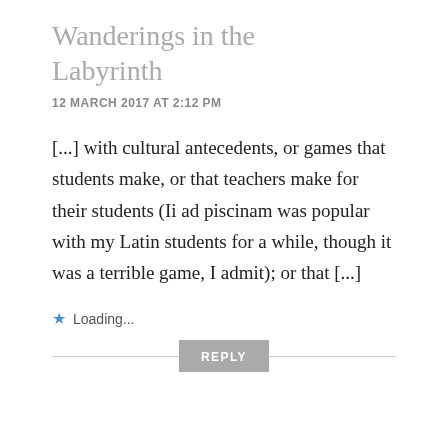Wanderings in the Labyrinth
12 MARCH 2017 AT 2:12 PM
[...] with cultural antecedents, or games that students make, or that teachers make for their students (Ii ad piscinam was popular with my Latin students for a while, though it was a terrible game, I admit); or that [...]
★ Loading...
REPLY